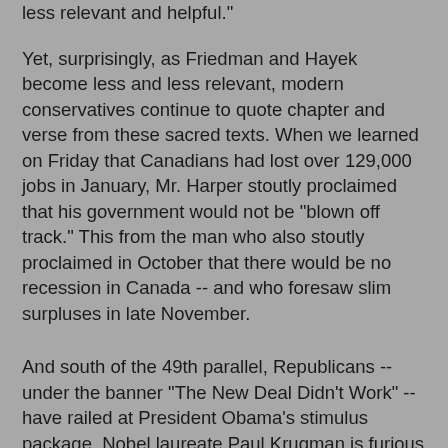less relevant and helpful."
Yet, surprisingly, as Friedman and Hayek become less and less relevant, modern conservatives continue to quote chapter and verse from these sacred texts. When we learned on Friday that Canadians had lost over 129,000 jobs in January, Mr. Harper stoutly proclaimed that his government would not be "blown off track." This from the man who also stoutly proclaimed in October that there would be no recession in Canada -- and who foresaw slim surpluses in late November.
And south of the 49th parallel, Republicans -- under the banner "The New Deal Didn't Work" -- have railed at President Obama's stimulus package. Nobel laureate Paul Krugman is furious -- particularly at the centrists who have managed to cut $100 billion from the Senate version of the legislation. The proposal was already too small, he wrote in today's New York Times. "Even if the original Obama plan -- around $800 billion in stimulus, with a substantial total of that